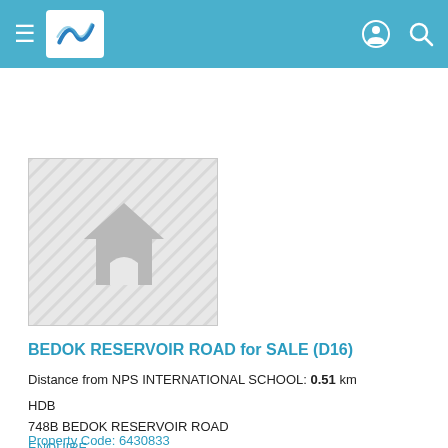≡ [logo] [icons]
[Figure (photo): Placeholder property image with a grey house/home icon on a light grey diagonal-striped background]
BEDOK RESERVOIR ROAD for SALE (D16)
Distance from NPS INTERNATIONAL SCHOOL: 0.51 km
HDB
748B BEDOK RESERVOIR ROAD
ENQUIRE
Call +65 61000300
Listed on 11 Aug 22
Property Code: 6430833